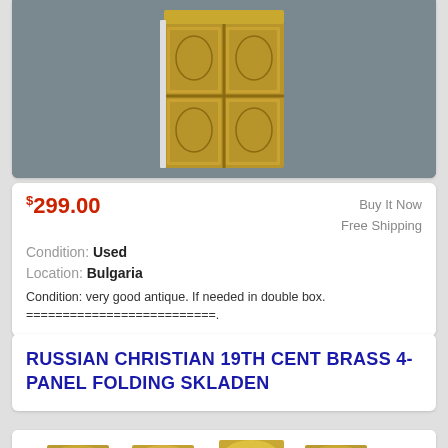[Figure (photo): Brass 4-panel folding icon (skladen) with religious imagery, photographed on grey background]
$299.00
Buy It Now
Free Shipping
Condition: Used
Location: Bulgaria
Condition: very good antique. If needed in double box. ==========================.
RUSSIAN CHRISTIAN 19TH CENT BRASS 4-PANEL FOLDING SKLADEN
[Figure (photo): Four brass religious icon panels with ornate arch-shaped tops, arranged side by side]